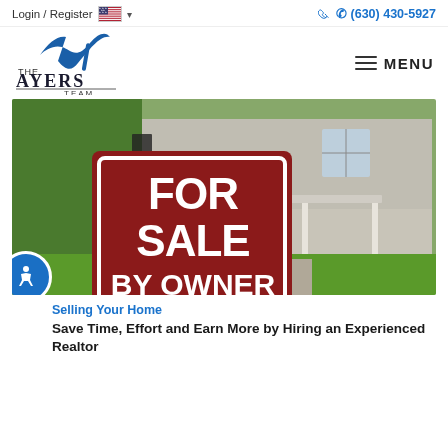Login / Register  🇺🇸 ▾    📞 (630) 430-5927
[Figure (logo): The Ayers Team logo with a blue stylized 'A' and line under 'AYERS TEAM' text]
≡ MENU
[Figure (photo): A 'For Sale By Owner' sign in front of a large two-story house with a porch and green lawn]
Selling Your Home
Save Time, Effort and Earn More by Hiring an Experienced Realtor